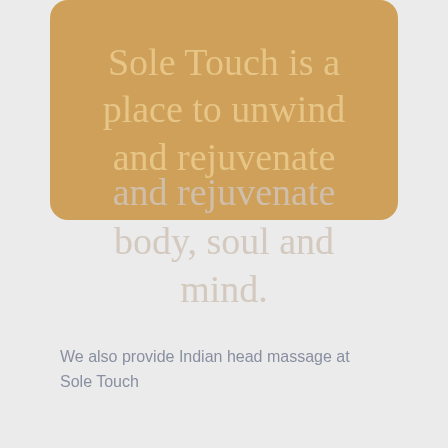[Figure (illustration): A golden/tan rounded rectangle card containing cursive script text 'Sole Touch is a place to unwind and rejuvenate body, soul and mind.' The text continues below the card as a faded/light overlay on the grey background.]
We also provide Indian head massage at Sole Touch